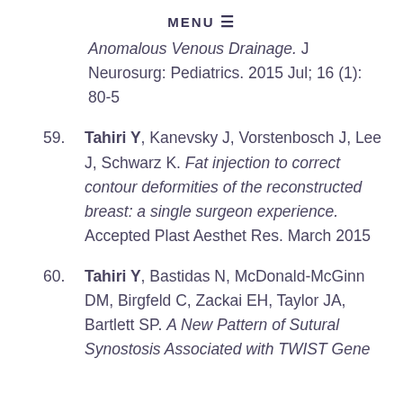MENU ☰
Anomalous Venous Drainage. J Neurosurg: Pediatrics. 2015 Jul; 16 (1): 80-5
59. Tahiri Y, Kanevsky J, Vorstenbosch J, Lee J, Schwarz K. Fat injection to correct contour deformities of the reconstructed breast: a single surgeon experience. Accepted Plast Aesthet Res. March 2015
60. Tahiri Y, Bastidas N, McDonald-McGinn DM, Birgfeld C, Zackai EH, Taylor JA, Bartlett SP. A New Pattern of Sutural Synostosis Associated with TWIST Gene